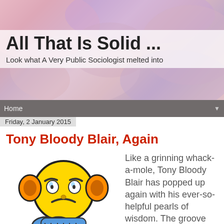All That Is Solid ...
Look what A Very Public Sociologist melted into
Home
Friday, 2 January 2015
Tony Bloody Blair, Again
[Figure (illustration): Cartoon angry emoji character with yellow face, orange ear-like appendages, blue hands, and frowning expression. Below it partial text 'tinynic' in blue stylized lettering.]
Like a grinning whack-a-mole, Tony Bloody Blair has popped up again with his ever-so-helpful pearls of wisdom. The groove hasn't changed for 20